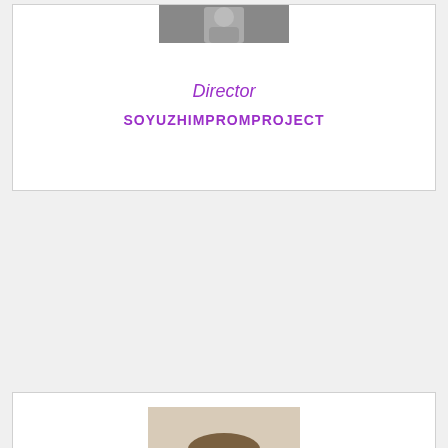[Figure (photo): Top portion of a man in a suit and tie, cropped photo in upper card]
Director
SOYUZHIMPROMPROJECT
[Figure (photo): Head and shoulders photo of a middle-aged man with short hair, wearing a light blue collared shirt]
[Figure (other): Orange circle with upward arrow icon (scroll to top button)]